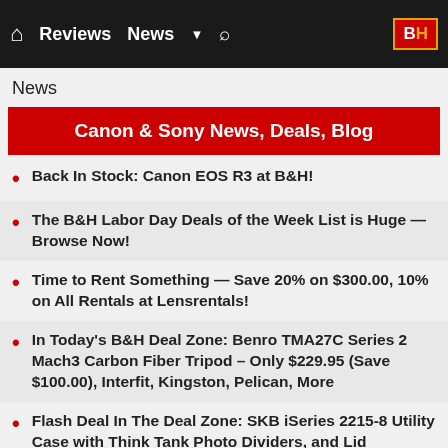Home Reviews News ▼ 🔍 B&H
News
Canon & Sony News, Deals, Blog
Back In Stock: Canon EOS R3 at B&H!
The B&H Labor Day Deals of the Week List is Huge — Browse Now!
Time to Rent Something — Save 20% on $300.00, 10% on All Rentals at Lensrentals!
In Today's B&H Deal Zone: Benro TMA27C Series 2 Mach3 Carbon Fiber Tripod – Only $229.95 (Save $100.00), Interfit, Kingston, Pelican, More
Flash Deal In The Deal Zone: SKB iSeries 2215-8 Utility Case with Think Tank Photo Dividers, and Lid Organizer (Black) – Only $269.99 (Save $115.00)
Time for New Batteries: The Canon LP-E6NH Lithium-Ion Battery is Back In Stock at B&H — Only $79.00